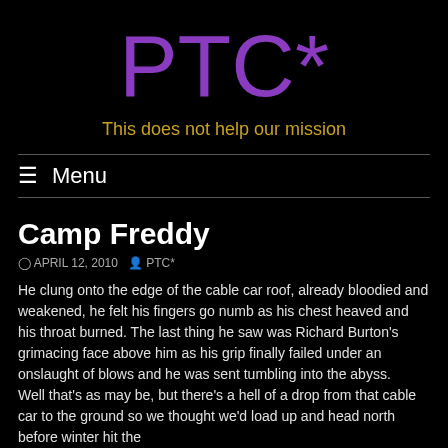PTC*
This does not help our mission
≡ Menu
Camp Freddy
APRIL 12, 2010  PTC*
He clung onto the edge of the cable car roof, already bloodied and weakened, he felt his fingers go numb as his chest heaved and his throat burned. The last thing he saw was Richard Burton's grimacing face above him as his grip finally failed under an onslaught of blows and he was sent tumbling into the abyss.
Well that's as may be, but there's a hell of a drop from that cable car to the ground so we thought we'd load up and head north before winter hit the